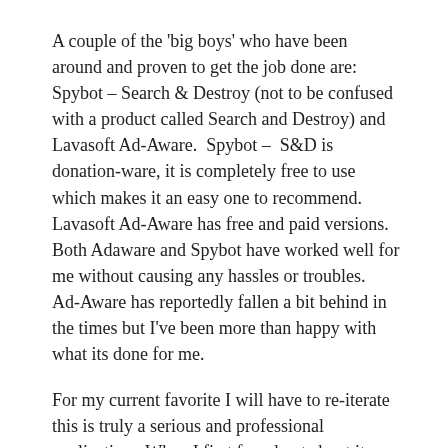A couple of the 'big boys' who have been around and proven to get the job done are: Spybot – Search & Destroy (not to be confused with a product called Search and Destroy) and Lavasoft Ad-Aware.  Spybot –  S&D is donation-ware, it is completely free to use which makes it an easy one to recommend.  Lavasoft Ad-Aware has free and paid versions.  Both Adaware and Spybot have worked well for me without causing any hassles or troubles.  Ad-Aware has reportedly fallen a bit behind in the times but I've been more than happy with what its done for me.
For my current favorite I will have to re-iterate this is truly a serious and professional application.  When I first found out about it on a credible Anti-Spyware site, HijackThis.de Security I still had trouble believing it.  With some trepidation I tried it out and have loved it ever since.  SUPERAntiSpyware.  Yes, the name screams all sorts of warnings but I've found it to be one of the easiest to use, it runs fast, hunts and kills